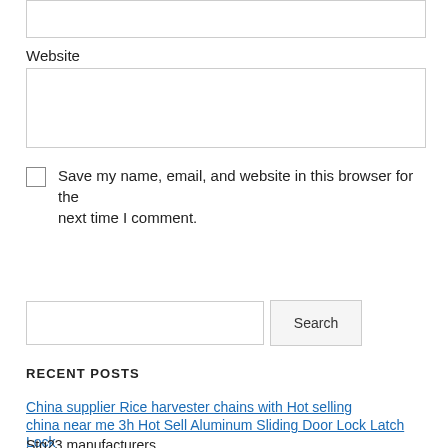Website
Save my name, email, and website in this browser for the next time I comment.
Post Comment
Search
RECENT POSTS
China supplier Rice harvester chains with Hot selling
china near me 3h Hot Sell Aluminum Sliding Door Lock Latch Lock
Stg23 manufacturers